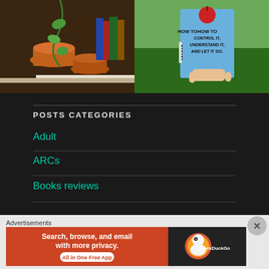[Figure (photo): Two photos side by side: left shows terracotta pots with green plants and books in background; right shows a hand holding a blue book titled 'HOW TO CONTROL IT, UNDERSTAND IT, AND LET IT GO' with a red apple on top, against green grass background]
POSTS CATEGORIES
Adult
ARCs
Books reviews
Advertisements
[Figure (screenshot): DuckDuckGo advertisement banner: orange section says 'Search, browse, and email with more privacy. All in One Free App', right section shows DuckDuckGo duck logo on dark background]